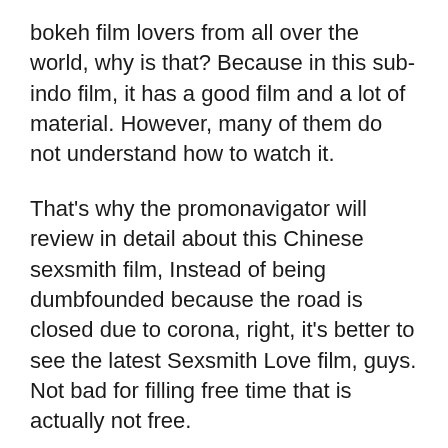bokeh film lovers from all over the world, why is that? Because in this sub-indo film, it has a good film and a lot of material. However, many of them do not understand how to watch it.
That's why the promonavigator will review in detail about this Chinese sexsmith film, Instead of being dumbfounded because the road is closed due to corona, right, it's better to see the latest Sexsmith Love film, guys. Not bad for filling free time that is actually not free.
So, for those of you who are attending for the first time, it's best if you look at the reviews about this film first so that you connect with the sentences that the admin